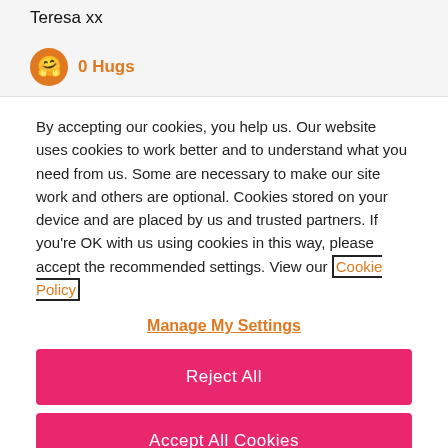Teresa xx
0 Hugs
By accepting our cookies, you help us. Our website uses cookies to work better and to understand what you need from us. Some are necessary to make our site work and others are optional. Cookies stored on your device and are placed by us and trusted partners. If you're OK with us using cookies in this way, please accept the recommended settings. View our Cookie Policy
Manage My Settings
Reject All
Accept All Cookies